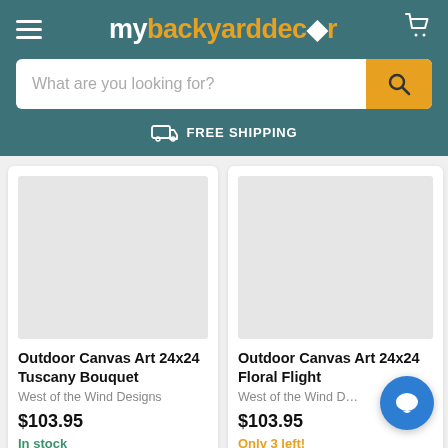mybackyarddecor
What are you looking for?
FREE SHIPPING
[Figure (photo): Product image placeholder for Outdoor Canvas Art 24x24 Tuscany Bouquet]
Outdoor Canvas Art 24x24 Tuscany Bouquet
West of the Wind Designs
$103.95
In stock
[Figure (photo): Product image placeholder for Outdoor Canvas Art 24x24 Floral Flight]
Outdoor Canvas Art 24x24 Floral Flight
West of the Wind D…
$103.95
Only 3 left!